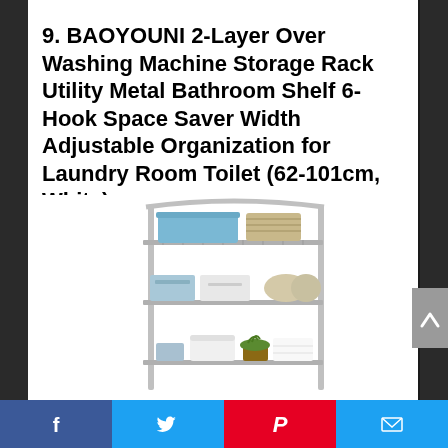9. BAOYOUNI 2-Layer Over Washing Machine Storage Rack Utility Metal Bathroom Shelf 6-Hook Space Saver Width Adjustable Organization for Laundry Room Toilet (62-101cm, White)
[Figure (photo): Product photo of a BAOYOUNI 2-layer over washing machine storage rack, a metal wire shelving unit with multiple tiers holding storage boxes, baskets, towels, and a small plant]
[Figure (other): Back-to-top arrow button (grey rectangle with upward chevron)]
Social sharing bar with Facebook, Twitter, Pinterest, and Email icons